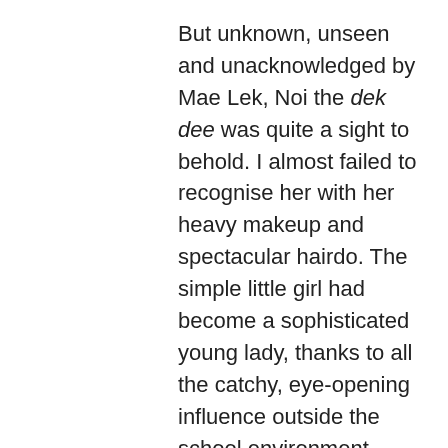But unknown, unseen and unacknowledged by Mae Lek, Noi the dek dee was quite a sight to behold. I almost failed to recognise her with her heavy makeup and spectacular hairdo. The simple little girl had become a sophisticated young lady, thanks to all the catchy, eye-opening influence outside the school environment. Once, I saw a young taxi driver drive her home, parked his taxi and smoked with her. On several occasions after that, I saw her smoking with boys and girls of the same feather at the void deck of my block. All this while, Lek was being being besieged by his mother's